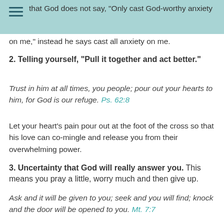Note that God does not say, "Only cast God-worthy anxiety on me," instead he says cast all anxiety on me.
2. Telling yourself, “Pull it together and act better.”
Trust in him at all times, you people; pour out your hearts to him, for God is our refuge. Ps. 62:8
Let your heart’s pain pour out at the foot of the cross so that his love can co-mingle and release you from their overwhelming power.
3. Uncertainty that God will really answer you. This means you pray a little, worry much and then give up.
Ask and it will be given to you; seek and you will find; knock and the door will be opened to you. Mt. 7:7